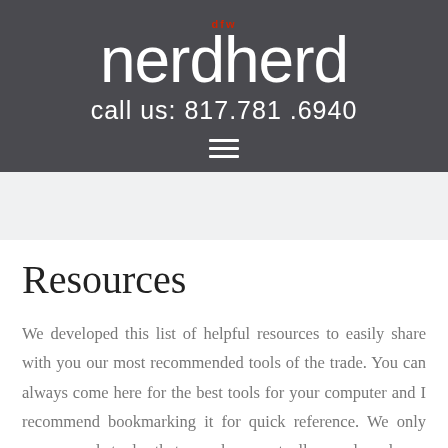dfw nerdherd
call us: 817.781.6940
Resources
We developed this list of helpful resources to easily share with you our most recommended tools of the trade. You can always come here for the best tools for your computer and I recommend bookmarking it for quick reference. We only recommend tools that we have actually used and use ourselves, and do this because